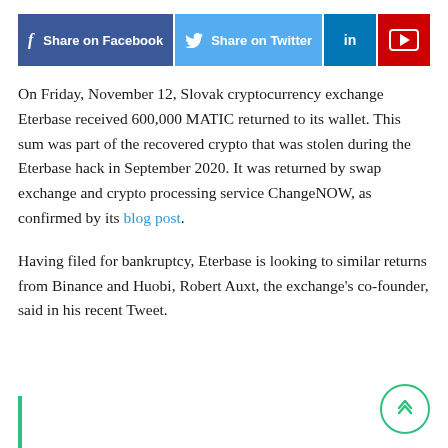[Figure (infographic): Social sharing buttons bar with Facebook (dark blue), Twitter (light blue), LinkedIn (blue), and YouTube (red) buttons]
On Friday, November 12, Slovak cryptocurrency exchange Eterbase received 600,000 MATIC returned to its wallet. This sum was part of the recovered crypto that was stolen during the Eterbase hack in September 2020. It was returned by swap exchange and crypto processing service ChangeNOW, as confirmed by its blog post.
Having filed for bankruptcy, Eterbase is looking to similar returns from Binance and Huobi, Robert Auxt, the exchange's co-founder, said in his recent Tweet.